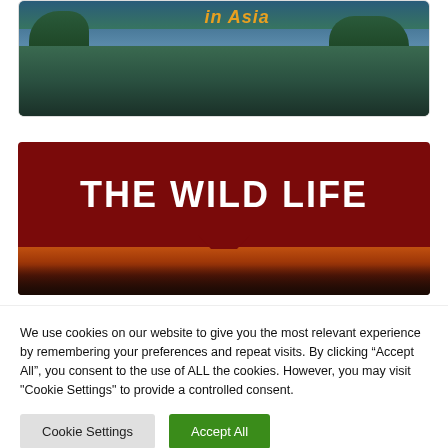[Figure (photo): Partial view of a tropical nature scene with water, islands and green vegetation, with orange italic text reading 'in Asia' at the top]
[Figure (photo): Card with dark red header containing 'THE WILD LIFE' in large white bold text, below which is a sunset silhouette scene with orange-red sky and dark tree silhouettes]
We use cookies on our website to give you the most relevant experience by remembering your preferences and repeat visits. By clicking “Accept All”, you consent to the use of ALL the cookies. However, you may visit "Cookie Settings" to provide a controlled consent.
Cookie Settings
Accept All